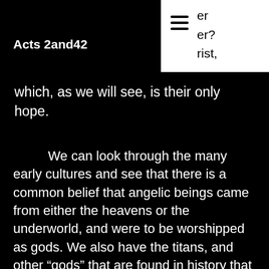Acts 2and42
rist, which, as we will see, is their only hope.
We can look through the many early cultures and see that there is a common belief that angelic beings came from either the heavens or the underworld, and were to be worshipped as gods. We also have the titans, and other “gods” that are found in history that further details that either men are so desperate to believe in and worship something